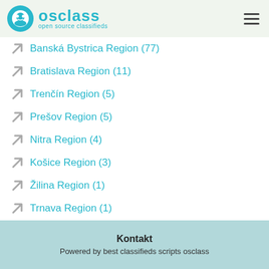osclass open source classifieds
Banská Bystrica Region (77)
Bratislava Region (11)
Trenčín Region (5)
Prešov Region (5)
Nitra Region (4)
Košice Region (3)
Žilina Region (1)
Trnava Region (1)
Kontakt
Powered by best classifieds scripts osclass